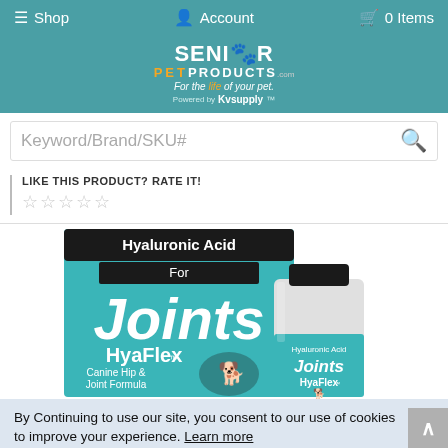Shop  Account  0 Items
[Figure (logo): Senior Pet Products logo with paw icon, tagline 'For the life of your pet.' and 'Powered by KVsupply']
Keyword/Brand/SKU#
LIKE THIS PRODUCT? RATE IT!
[Figure (photo): HyaFlex Hyaluronic Acid For Joints Canine Hip & Joint Formula product box and bottle]
By Continuing to use our site, you consent to our use of cookies to improve your experience. Learn more
HyaFlex Canine Hip & Joints... $